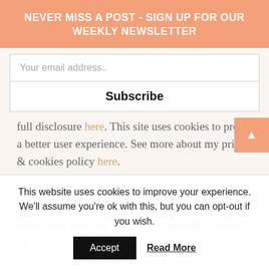NEVER MISS A POST - SIGN UP FOR OUR WEEKLY NEWSLETTER
Your email address..
Subscribe
full disclosure here. This site uses cookies to provide a better user experience. See more about my privacy & cookies policy here.
glitternspice.com is a participant in the Amazon Services LLC Associates Program, an affiliate advertising program designed to provide a means for
This website uses cookies to improve your experience. We'll assume you're ok with this, but you can opt-out if you wish.
Accept
Read More